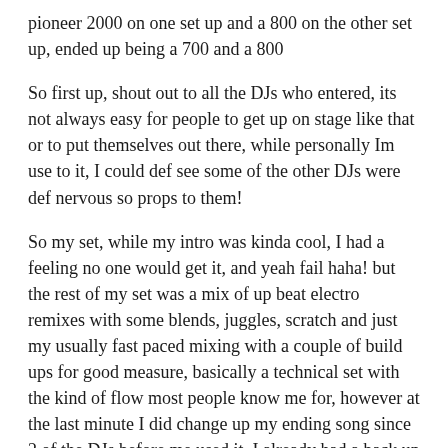pioneer 2000 on one set up and a 800 on the other set up, ended up being a 700 and a 800
So first up, shout out to all the DJs who entered, its not always easy for people to get up on stage like that or to put themselves out there, while personally Im use to it, I could def see some of the other DJs were def nervous so props to them!
So my set, while my intro was kinda cool, I had a feeling no one would get it, and yeah fail haha! but the rest of my set was a mix of up beat electro remixes with some blends, juggles, scratch and just my usually fast paced mixing with a couple of build ups for good measure, basically a technical set with the kind of flow most people know me for, however at the last minute I did change up my ending song since 2 of the DJs before me used it, I already had a back up song since I was thinking of using it anyways and it ended up working just the way I thought it would (pure crowd rocker) however it wasnt really what I was going for with my set, I was more focusing on